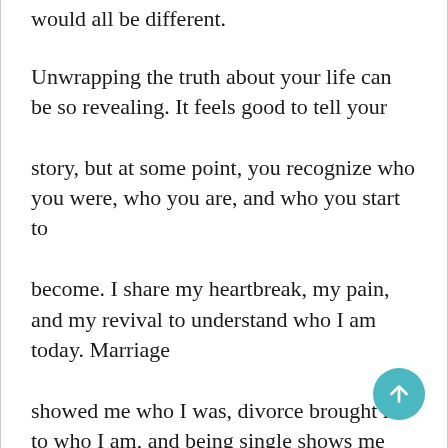would all be different.
Unwrapping the truth about your life can be so revealing. It feels good to tell your story, but at some point, you recognize who you were, who you are, and who you start to become. I share my heartbreak, my pain, and my revival to understand who I am today. Marriage showed me who I was, divorce brought me to who I am, and being single shows me who I want to be.
I lived life a little backward, but then I moved a little too far forward, and now